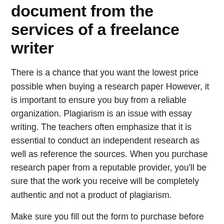document from the services of a freelance writer
There is a chance that you want the lowest price possible when buying a research paper However, it is important to ensure you buy from a reliable organization. Plagiarism is an issue with essay writing. The teachers often emphasize that it is essential to conduct an independent research as well as reference the sources. When you purchase research paper from a reputable provider, you'll be sure that the work you receive will be completely authentic and not a product of plagiarism.
Make sure you fill out the form to purchase before you purchase a research paper. It's crucial that you do not forget any information in the form, like the topic, or the instructions. Your next step is talking to the writer's service. If you have any questions or have to modify any information in your paper or have any other questions, contact the representative